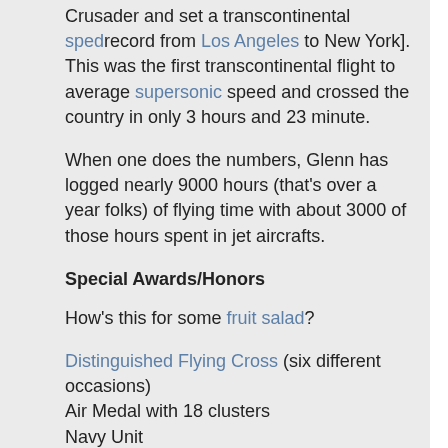Crusader and set a transcontinental spedrecord from Los Angeles to New York]. This was the first transcontinental flight to average supersonic speed and crossed the country in only 3 hours and 23 minute.
When one does the numbers, Glenn has logged nearly 9000 hours (that's over a year folks) of flying time with about 3000 of those hours spent in jet aircrafts.
Special Awards/Honors
How's this for some fruit salad?
Distinguished Flying Cross (six different occasions)
Air Medal with 18 clusters
Navy Unit